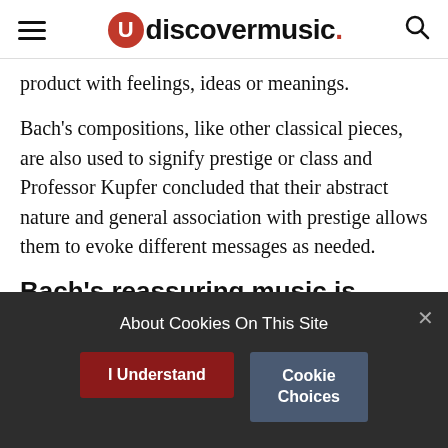udiscovermusic.
product with feelings, ideas or meanings.
Bach’s compositions, like other classical pieces, are also used to signify prestige or class and Professor Kupfer concluded that their abstract nature and general association with prestige allows them to evoke different messages as needed.
Bach’s reassuring music is regularly used in television commercials
Bach’s music is regularly used in television
About Cookies On This Site
I Understand
Cookie Choices